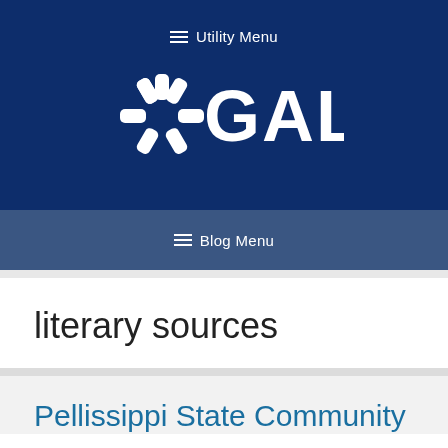≡ Utility Menu
[Figure (logo): GALE logo with asterisk/snowflake symbol in white on dark blue background]
≡ Blog Menu
literary sources
Pellissippi State Community